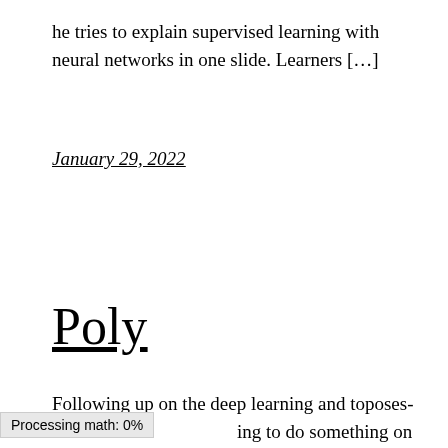he tries to explain supervised learning with neural networks in one slide. Learners […]
January 29, 2022
Poly
Following up on the deep learning and toposes- ing to do something on the logic
Processing math: 0%